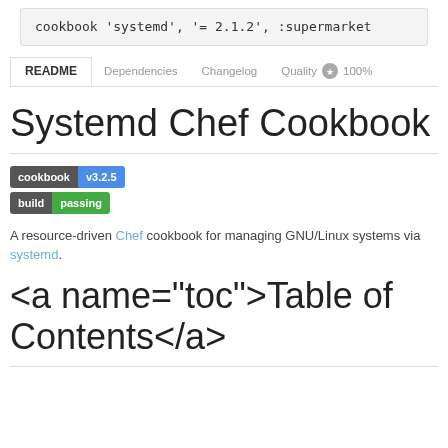cookbook 'systemd', '= 2.1.2', :supermarket
README   Dependencies   Changelog   Quality  100%
Systemd Chef Cookbook
[Figure (other): Two badges: 'cookbook v3.2.5' and 'build passing']
A resource-driven Chef cookbook for managing GNU/Linux systems via systemd.
<a name="toc">Table of Contents</a>